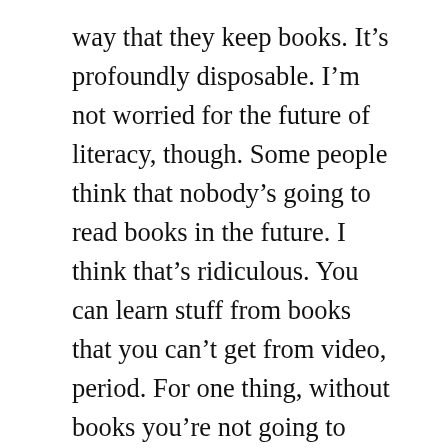way that they keep books. It's profoundly disposable. I'm not worried for the future of literacy, though. Some people think that nobody's going to read books in the future. I think that's ridiculous. You can learn stuff from books that you can't get from video, period. For one thing, without books you're not going to know anything about the past 5,000 years of history. They didn't have video in the 18th century, okay, pal? And if you want to know anything about the 18th century and what went on i n it, say, why the American republic was started and what people meant when they wrote the constitution, you gotta know about books. You're not going to get that out of a Hypercard stack, I'm sorry. And if you know